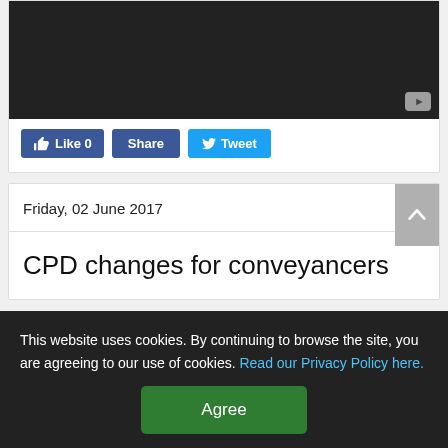[Figure (screenshot): Video player area with dark background and YouTube play button icon in bottom right corner]
[Figure (screenshot): Social media buttons: Facebook Like 0, Share, and Tweet buttons]
Friday, 02 June 2017
CPD changes for conveyancers
This website uses cookies. By continuing to browse the site, you are agreeing to our use of cookies. Read our Privacy Policy here.
Agree